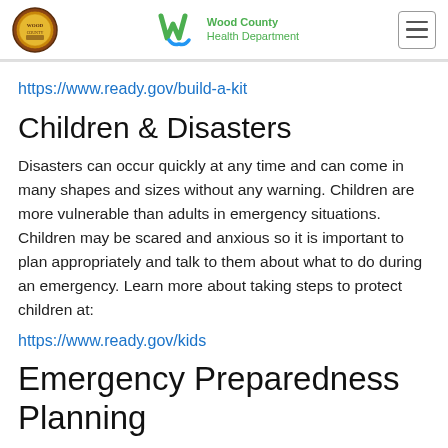Wood County Health Department
https://www.ready.gov/build-a-kit
Children & Disasters
Disasters can occur quickly at any time and can come in many shapes and sizes without any warning. Children are more vulnerable than adults in emergency situations. Children may be scared and anxious so it is important to plan appropriately and talk to them about what to do during an emergency. Learn more about taking steps to protect children at:
https://www.ready.gov/kids
Emergency Preparedness Planning